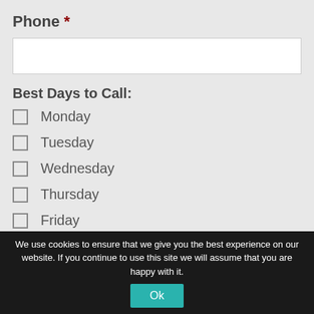Phone *
Best Days to Call:
Monday
Tuesday
Wednesday
Thursday
Friday
We use cookies to ensure that we give you the best experience on our website. If you continue to use this site we will assume that you are happy with it.